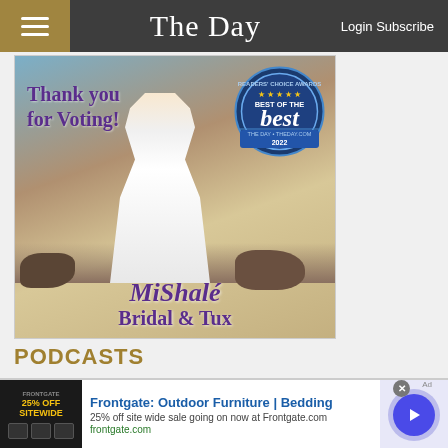The Day — Login Subscribe
[Figure (photo): MiShalé Bridal & Tux advertisement showing a bride in a white gown on a beach with text 'Thank you for Voting!' and a 'Best of the Best 2022 Readers Choice Awards' badge from The Day / theday.com]
PODCASTS
[Figure (infographic): Advertisement for Frontgate: Outdoor Furniture | Bedding. Shows '25% off site wide sale going on now at Frontgate.com' with frontgate.com link. Includes a close button and play button.]